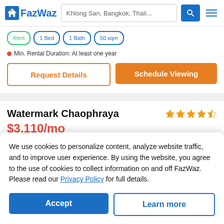FazWaz — Khlong San, Bangkok, Thail...
Min. Rental Duration: At least one year
Request Details | Schedule Viewing
Watermark Chaophraya
$3,110/mo
Bang Lamphu Lang, Khlong San
LISTED 5 DAYS AGO
We use cookies to personalize content, analyze website traffic, and to improve user experience. By using the website, you agree to the use of cookies to collect information on and off FazWaz. Please read our Privacy Policy for full details.
Accept | Learn more